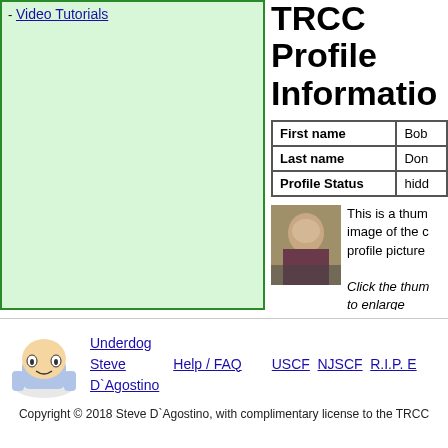- Video Tutorials
TRCC Profile Information
|  |  |
| --- | --- |
| First name | Bob |
| Last name | Don |
| Profile Status | hidd |
[Figure (photo): Thumbnail photo of a person playing chess]
This is a thumbnail image of the current profile picture. Click the thumbnail to enlarge
[Figure (logo): Underdog Steve D'Agostino cartoon logo]
Underdog Steve D`Agostino
Help / FAQ
USCF NJSCF R.I.P. E
Copyright © 2018 Steve D`Agostino, with complimentary license to the TRCC